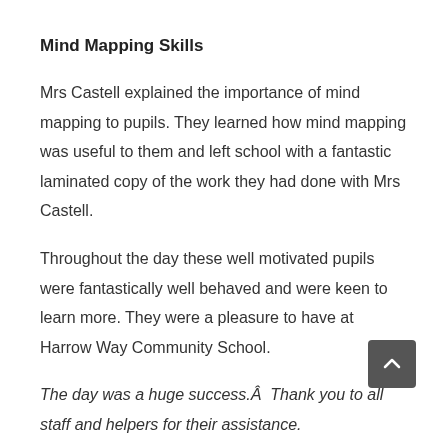Mind Mapping Skills
Mrs Castell explained the importance of mind mapping to pupils. They learned how mind mapping was useful to them and left school with a fantastic laminated copy of the work they had done with Mrs Castell.
Throughout the day these well motivated pupils were fantastically well behaved and were keen to learn more. They were a pleasure to have at Harrow Way Community School.
The day was a huge success.Â  Thank you to all staff and helpers for their assistance.